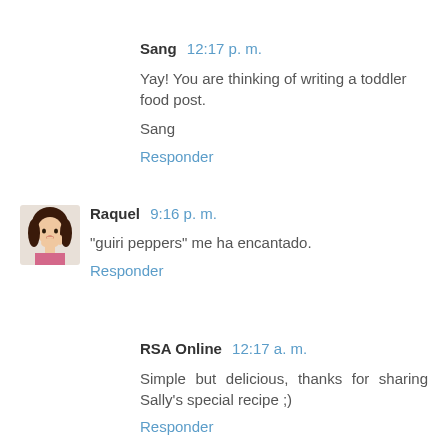Sang 12:17 p. m.
Yay! You are thinking of writing a toddler food post.
Sang
Responder
[Figure (illustration): Avatar illustration of Raquel, a woman with dark hair]
Raquel 9:16 p. m.
"guiri peppers" me ha encantado.
Responder
RSA Online 12:17 a. m.
Simple but delicious, thanks for sharing Sally's special recipe ;)
Responder